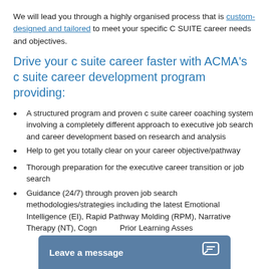We will lead you through a highly organised process that is custom-designed and tailored to meet your specific C SUITE career needs and objectives.
Drive your c suite career faster with ACMA's c suite career development program providing:
A structured program and proven c suite career coaching system involving a completely different approach to executive job search and career development based on research and analysis
Help to get you totally clear on your career objective/pathway
Thorough preparation for the executive career transition or job search
Guidance (24/7) through proven job search methodologies/strategies including the latest Emotional Intelligence (EI), Rapid Pathway Molding (RPM), Narrative Therapy (NT), Cogn... Prior Learning Asses...